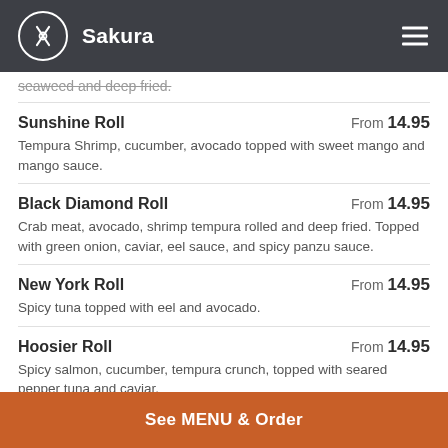Sakura
seaweed and deep fried.
Sunshine Roll — From 14.95 — Tempura Shrimp, cucumber, avocado topped with sweet mango and mango sauce.
Black Diamond Roll — From 14.95 — Crab meat, avocado, shrimp tempura rolled and deep fried. Topped with green onion, caviar, eel sauce, and spicy panzu sauce.
New York Roll — From 14.95 — Spicy tuna topped with eel and avocado.
Hoosier Roll — From 14.95 — Spicy salmon, cucumber, tempura crunch, topped with seared pepper tuna and caviar.
Kamikaze Roll — 14.95
See MENU & Order